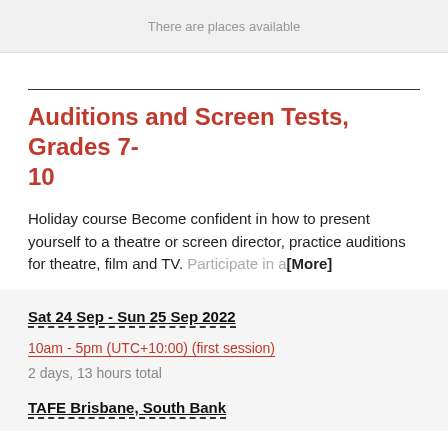There are places available
Auditions and Screen Tests, Grades 7-10
Holiday course Become confident in how to present yourself to a theatre or screen director, practice auditions for theatre, film and TV. Participate in a[More]
Sat 24 Sep - Sun 25 Sep 2022
10am - 5pm (UTC+10:00) (first session)
2 days, 13 hours total
TAFE Brisbane, South Bank